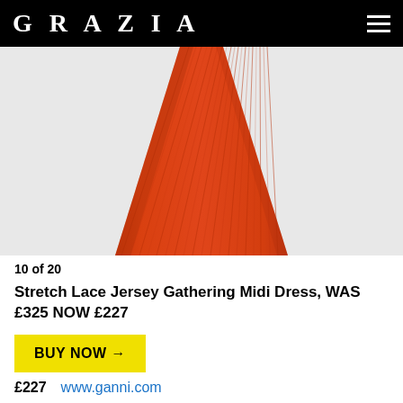GRAZIA
[Figure (photo): Orange/red stretch lace jersey gathering midi dress product photo on light grey background]
10 of 20
Stretch Lace Jersey Gathering Midi Dress, WAS £325 NOW £227
BUY NOW →
£227  www.ganni.com